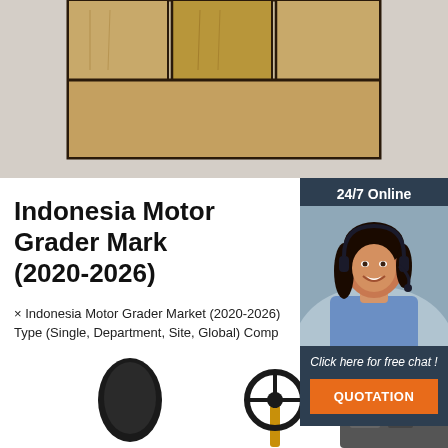[Figure (photo): Wooden cabinet/furniture product image on light gray background]
[Figure (photo): 24/7 online chat support widget with woman wearing headset, dark blue background, orange QUOTATION button]
Indonesia Motor Grader Mark (2020-2026)
× Indonesia Motor Grader Market (2020-2026) Type (Single, Department, Site, Global) Comp
Get Price
[Figure (photo): Motor grader machinery equipment, partial view showing seat, steering wheel and engine components]